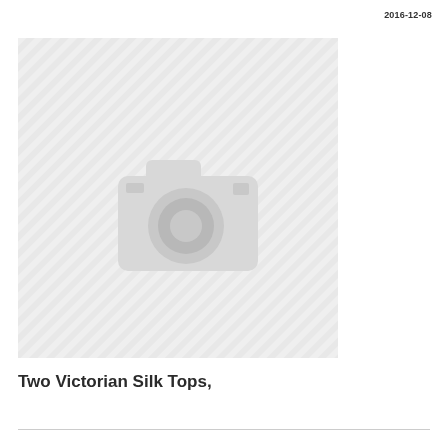2016-12-08
[Figure (photo): Placeholder image with diagonal stripe pattern background and a camera icon in the center, indicating no image available.]
Two Victorian Silk Tops,